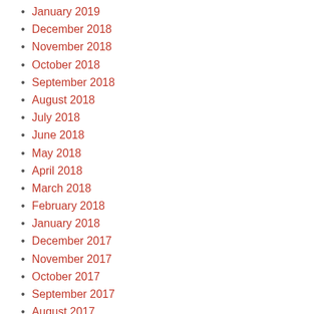January 2019
December 2018
November 2018
October 2018
September 2018
August 2018
July 2018
June 2018
May 2018
April 2018
March 2018
February 2018
January 2018
December 2017
November 2017
October 2017
September 2017
August 2017
July 2017
June 2017
May 2017
April 2017